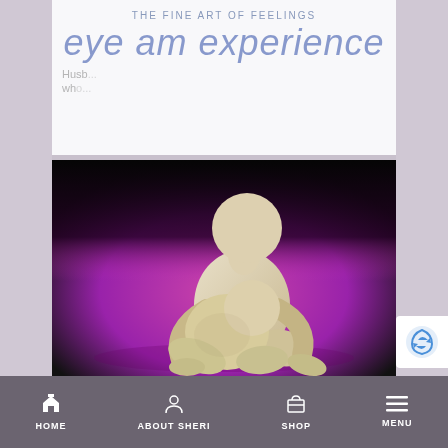THE FINE ART OF FEELINGS
eye am experience
believe she will.
[Figure (photo): Clay/sculpted figurines of two abstract human figures on a purple/magenta background, one larger figure embracing or hovering over a smaller crouched figure. The figures are featureless, beige-colored, and appear to depict comfort or protection.]
HOME   ABOUT SHERI   SHOP   MENU